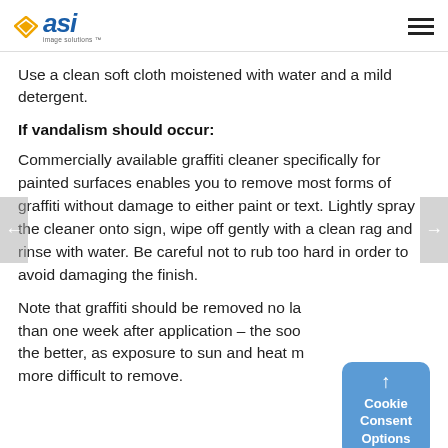asi | image solutions
Use a clean soft cloth moistened with water and a mild detergent.
If vandalism should occur:
Commercially available graffiti cleaner specifically for painted surfaces enables you to remove most forms of graffiti without damage to either paint or text. Lightly spray the cleaner onto sign, wipe off gently with a clean rag and rinse with water. Be careful not to rub too hard in order to avoid damaging the finish.
Note that graffiti should be removed no later than one week after application – the sooner the better, as exposure to sun and heat makes it more difficult to remove.